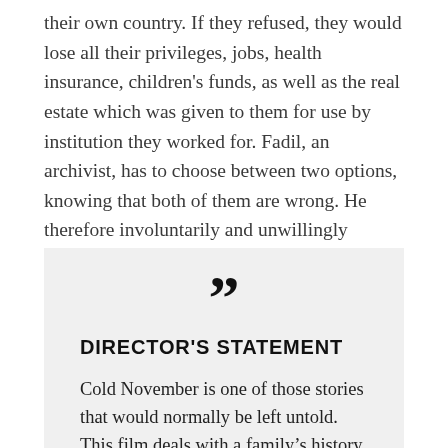their own country. If they refused, they would lose all their privileges, jobs, health insurance, children's funds, as well as the real estate which was given to them for use by institution they worked for. Fadil, an archivist, has to choose between two options, knowing that both of them are wrong. He therefore involuntarily and unwillingly swallows the shame, endures the stigma, and the pressure coming from all sides.
DIRECTOR'S STATEMENT
Cold November is one of those stories that would normally be left untold. This film deals with a family's history. It is based on real events in a turbulent time, when we cannot say that we were living, but merely existing. His name is Fadil, he lives in Pristina, Kosovo